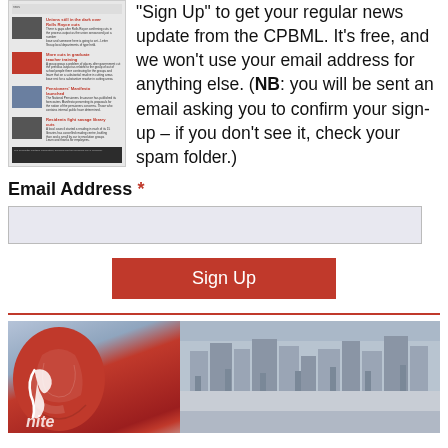[Figure (illustration): Newsletter preview thumbnail showing article snippets with red headlines and small images]
"Sign Up" to get your regular news update from the CPBML. It's free, and we won't use your email address for anything else. (NB: you will be sent an email asking you to confirm your sign-up – if you don't see it, check your spam folder.)
Email Address *
Sign Up
[Figure (photo): Photo of a large red Unite union balloon in front of a grand building, with cloudy sky in background]